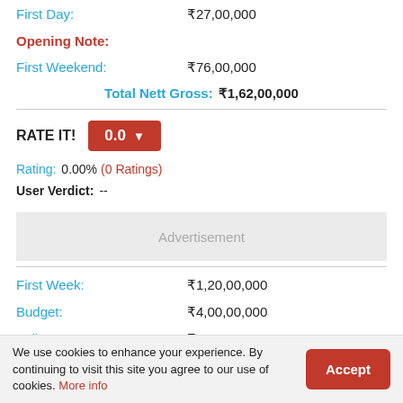First Day: ₹27,00,000
Opening Note:
First Weekend: ₹76,00,000
Total Nett Gross: ₹1,62,00,000
RATE IT! 0.0
Rating: 0.00% (0 Ratings)
User Verdict: --
[Figure (other): Advertisement placeholder box]
First Week: ₹1,20,00,000
Budget: ₹4,00,00,000
India Gross: ₹2,78,00,000
We use cookies to enhance your experience. By continuing to visit this site you agree to our use of cookies. More info